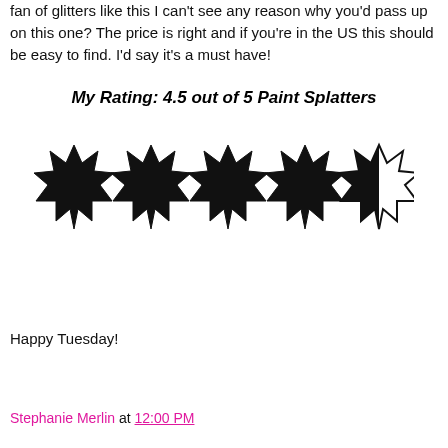fan of glitters like this I can't see any reason why you'd pass up on this one? The price is right and if you're in the US this should be easy to find. I'd say it's a must have!
My Rating: 4.5 out of 5 Paint Splatters
[Figure (illustration): Five paint splatter icons representing a rating of 4.5 out of 5; four are fully filled black and the fifth is partially filled (half black, half outline).]
Happy Tuesday!
Stephanie Merlin at 12:00 PM